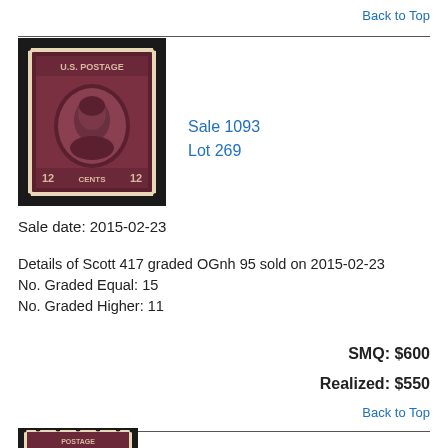Back to Top
[Figure (photo): US postage stamp, 12 cents, brown/purple, Benjamin Franklin portrait, perforated edges, dark background]
Sale 1093
Lot 269
Sale date: 2015-02-23
Details of Scott 417 graded OGnh 95 sold on 2015-02-23
No. Graded Equal: 15
No. Graded Higher: 11
SMQ: $600
Realized: $550
Back to Top
[Figure (photo): US postage stamp, partial view, bottom portion visible, similar brown/purple stamp]